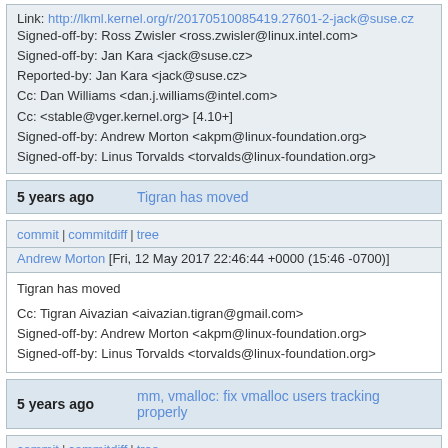Link: http://lkml.kernel.org/r/20170510085419.27601-2-jack@suse.cz
Signed-off-by: Ross Zwisler <ross.zwisler@linux.intel.com>
Signed-off-by: Jan Kara <jack@suse.cz>
Reported-by: Jan Kara <jack@suse.cz>
Cc: Dan Williams <dan.j.williams@intel.com>
Cc: <stable@vger.kernel.org> [4.10+]
Signed-off-by: Andrew Morton <akpm@linux-foundation.org>
Signed-off-by: Linus Torvalds <torvalds@linux-foundation.org>
5 years ago    Tigran has moved
commit | commitdiff | tree
Andrew Morton [Fri, 12 May 2017 22:46:44 +0000 (15:46 -0700)]
Tigran has moved

Cc: Tigran Aivazian <aivazian.tigran@gmail.com>
Signed-off-by: Andrew Morton <akpm@linux-foundation.org>
Signed-off-by: Linus Torvalds <torvalds@linux-foundation.org>
5 years ago    mm, vmalloc: fix vmalloc users tracking properly
commit | commitdiff | tree